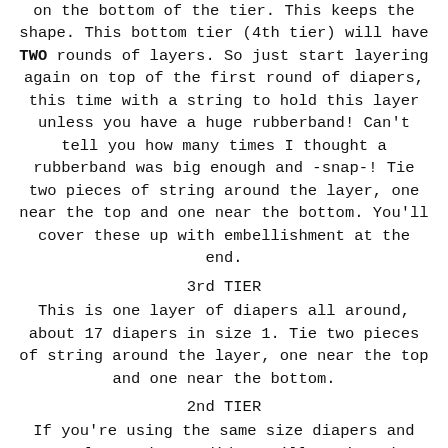on the bottom of the tier. This keeps the shape. This bottom tier (4th tier) will have TWO rounds of layers. So just start layering again on top of the first round of diapers, this time with a string to hold this layer unless you have a huge rubberband! Can't tell you how many times I thought a rubberband was big enough and -snap-! Tie two pieces of string around the layer, one near the top and one near the bottom. You'll cover these up with embellishment at the end.
3rd TIER
This is one layer of diapers all around, about 17 diapers in size 1. Tie two pieces of string around the layer, one near the top and one near the bottom.
2nd TIER
If you're using the same size diapers and oatmeal can that I did, you'll notice that there's only about 2-3 inches of space left on the